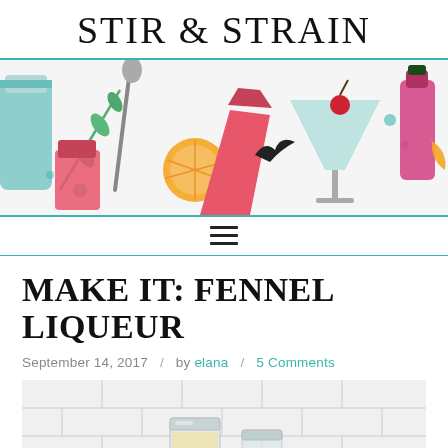STIR & STRAIN
[Figure (illustration): Colorful cocktail bar illustration banner with shakers, glasses, cherries, citrus slices, and bar tools on a white background with teal accents]
MAKE IT: FENNEL LIQUEUR
September 14, 2017 / by elana / 5 Comments
[Figure (photo): A photo showing glass jars on a white subway tile backsplash kitchen counter, partially visible]